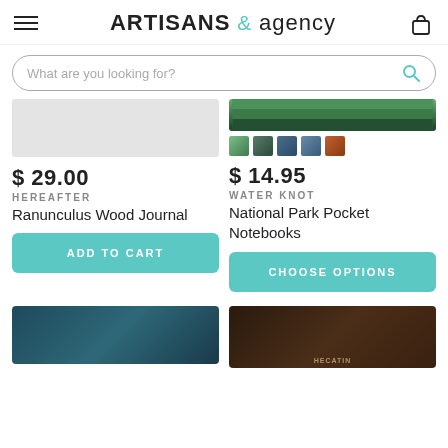ARTISANS & agency
What are you looking for?
$ 29.00
HEREAFTER
Ranunculus Wood Journal
ADD TO CART
[Figure (screenshot): Partial product image on right - National Park Pocket Notebooks with forest/nature imagery and 5 color swatch thumbnails]
$ 14.95
WATER KNOT
National Park Pocket Notebooks
CHOOSE OPTIONS
[Figure (photo): Bottom left product thumbnail - dark teal leather notebook]
[Figure (photo): Bottom right product thumbnail - dark brown leather notebook with partial text]